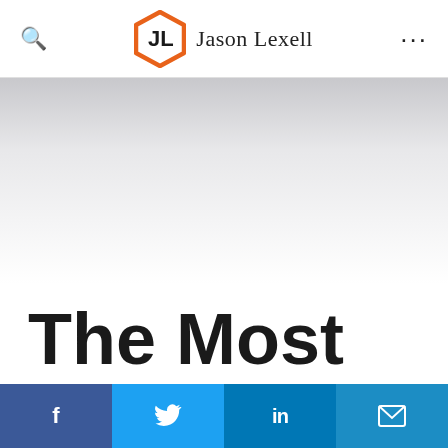Jason Lexell
[Figure (logo): Jason Lexell orange hexagon logo with JL monogram]
The Most
[Figure (other): Social share bar with Facebook, Twitter, LinkedIn, and Email buttons]